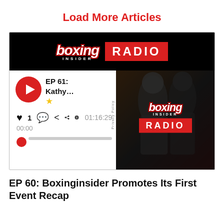Load More Articles
[Figure (screenshot): Boxing Insider Radio podcast widget showing EP 61 with play button, heart/comment/share icons, time 00:00 / 01:16:29, progress bar, and Boxing Insider Radio logo on right panel]
EP 60: Boxinginsider Promotes Its First Event Recap